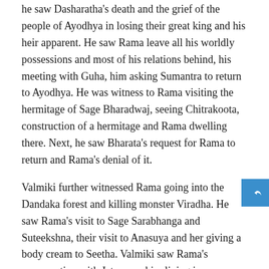he saw Dasharatha's death and the grief of the people of Ayodhya in losing their great king and his heir apparent. He saw Rama leave all his worldly possessions and most of his relations behind, his meeting with Guha, him asking Sumantra to return to Ayodhya. He was witness to Rama visiting the hermitage of Sage Bharadwaj, seeing Chitrakoota, construction of a hermitage and Rama dwelling there. Next, he saw Bharata's request for Rama to return and Rama's denial of it.
Valmiki further witnessed Rama going into the Dandaka forest and killing monster Viradha. He saw Rama's visit to Sage Sarabhanga and Suteekshna, their visit to Anasuya and her giving a body cream to Seetha. Valmiki saw Rama's conversation with Jatayuvu, him living in Panchavati, the defacement of Shoorphanaka and the killing of demons like Khara, Dhooshana and Trishirsa. He was witness to Ravana's abduction of Sita, Raghava's anguish at the loss of Sita and Ravana killing the mighty vulture Jatayuvu.